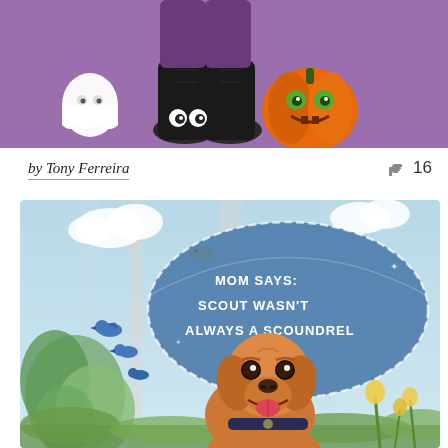[Figure (illustration): Halloween-themed cartoon illustration on a purple background showing cute character feet/shoes with eyes, an orange jack-o-lantern pumpkin with green eyes, and a small white ghost character]
by Tony Ferreira
16
[Figure (illustration): Children's book cover illustration showing a cute cartoon golden/brown dog sitting among green plants and flowers, with blue birds flying, clouds, and a large blue speech bubble reading 'MOM SAYS: SCOUT WASN'T ALWAYS A SCOUNDREL' on a light blue sky background]